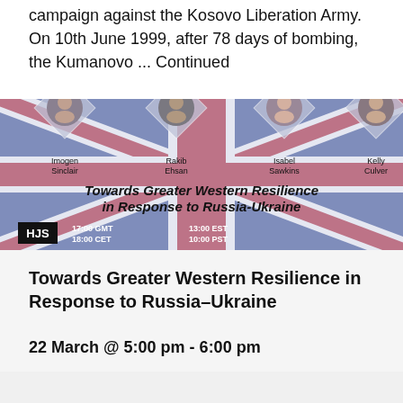campaign against the Kosovo Liberation Army. On 10th June 1999, after 78 days of bombing, the Kumanovo ... Continued
[Figure (photo): Event banner for 'Towards Greater Western Resilience in Response to Russia-Ukraine' with UK flag background, showing four speakers: Imogen Sinclair, Rakib Ehsan, Isabel Sawkins, Kelly Culver. HJS logo bottom left. Times: 17:00 GMT, 18:00 CET, 13:00 EST, 10:00 PST.]
Towards Greater Western Resilience in Response to Russia–Ukraine
22 March @ 5:00 pm - 6:00 pm